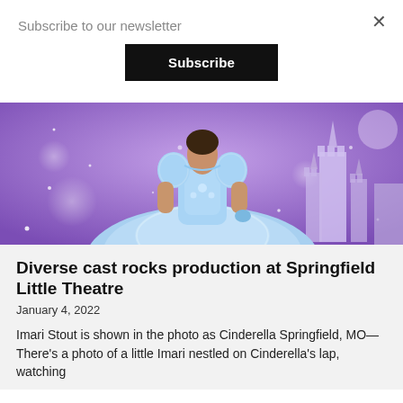Subscribe to our newsletter
Subscribe
[Figure (photo): A performer dressed as Cinderella in a light blue ball gown, posing against a purple magical background with a castle silhouette and sparkle effects.]
Diverse cast rocks production at Springfield Little Theatre
January 4, 2022
Imari Stout is shown in the photo as Cinderella Springfield, MO— There's a photo of a little Imari nestled on Cinderella's lap, watching